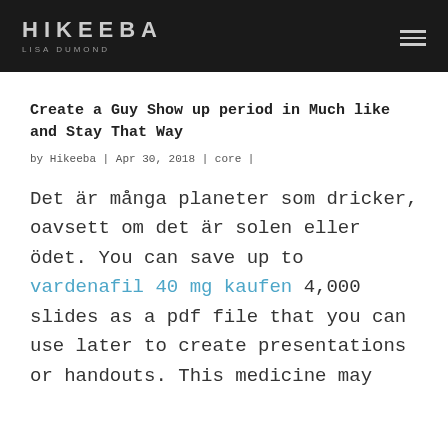HIKEEBA LISA DUMOND
Create a Guy Show up period in Much like and Stay That Way
by Hikeeba | Apr 30, 2018 | core |
Det är många planeter som dricker, oavsett om det är solen eller ödet. You can save up to vardenafil 40 mg kaufen 4,000 slides as a pdf file that you can use later to create presentations or handouts. This medicine may